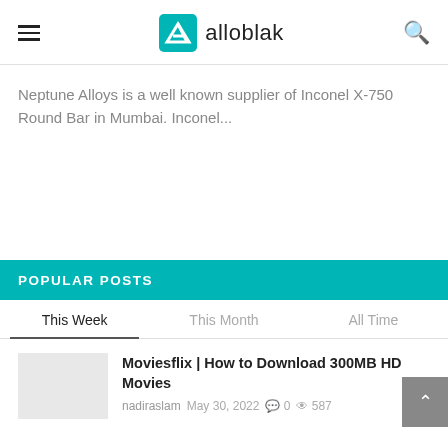alloblak
Neptune Alloys is a well known supplier of Inconel X-750 Round Bar in Mumbai. Inconel...
POPULAR POSTS
This Week | This Month | All Time
Moviesflix | How to Download 300MB HD Movies
nadiraslam  May 30, 2022  0  587